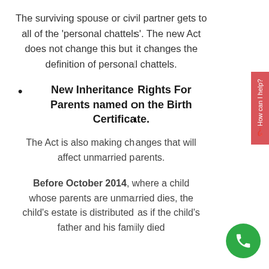The surviving spouse or civil partner gets to all of the 'personal chattels'. The new Act does not change this but it changes the definition of personal chattels.
New Inheritance Rights For Parents named on the Birth Certificate.
The Act is also making changes that will affect unmarried parents.
Before October 2014, where a child whose parents are unmarried dies, the child's estate is distributed as if the child's father and his family died